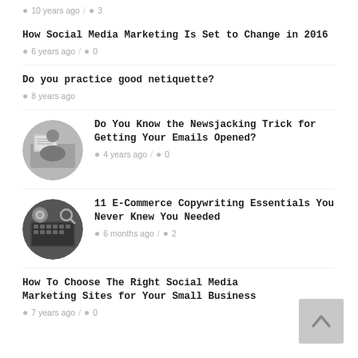10 years ago / 3
How Social Media Marketing Is Set to Change in 2016
6 years ago / 0
Do you practice good netiquette?
8 years ago
[Figure (photo): Person holding newspaper in front of face]
Do You Know the Newsjacking Trick for Getting Your Emails Opened?
4 years ago / 0
[Figure (photo): Coffee and keyboard on dark background]
11 E-Commerce Copywriting Essentials You Never Knew You Needed
6 months ago / 2
How To Choose The Right Social Media Marketing Sites for Your Small Business
7 years ago / 0